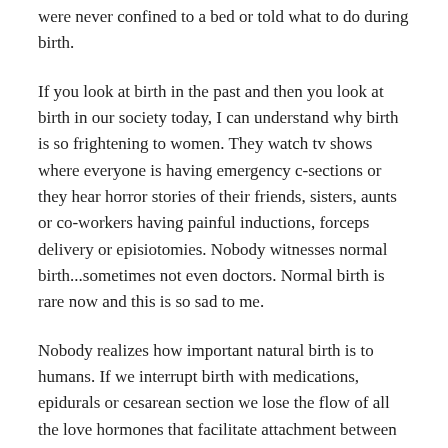were never confined to a bed or told what to do during birth.
If you look at birth in the past and then you look at birth in our society today, I can understand why birth is so frightening to women. They watch tv shows where everyone is having emergency c-sections or they hear horror stories of their friends, sisters, aunts or co-workers having painful inductions, forceps delivery or episiotomies. Nobody witnesses normal birth...sometimes not even doctors. Normal birth is rare now and this is so sad to me.
Nobody realizes how important natural birth is to humans. If we interrupt birth with medications, epidurals or cesarean section we lose the flow of all the love hormones that facilitate attachment between mother and baby. Also, the more we intervene and interrupt a labouring mother, putting her into a state of fear, the more likely she won't be able to birth properly, thus putting the baby at risk.